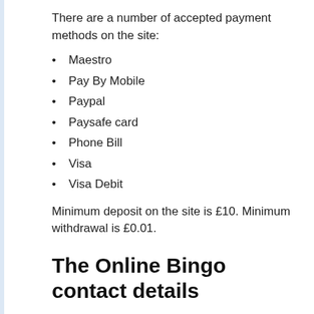There are a number of accepted payment methods on the site:
Maestro
Pay By Mobile
Paypal
Paysafe card
Phone Bill
Visa
Visa Debit
Minimum deposit on the site is £10. Minimum withdrawal is £0.01.
The Online Bingo contact details
Get the site's contact details here, including email address, phone number, and customer service opening